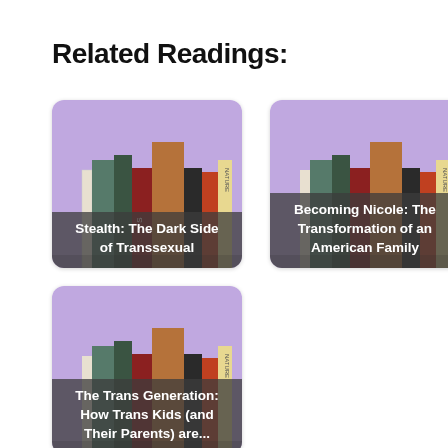Related Readings:
[Figure (illustration): Book illustration with purple sky background, caption: Stealth: The Dark Side of Transsexual]
[Figure (illustration): Book illustration with purple sky background, caption: Becoming Nicole: The Transformation of an American Family]
[Figure (illustration): Book illustration with purple sky background, caption: The Trans Generation: How Trans Kids (and Their Parents) are...]